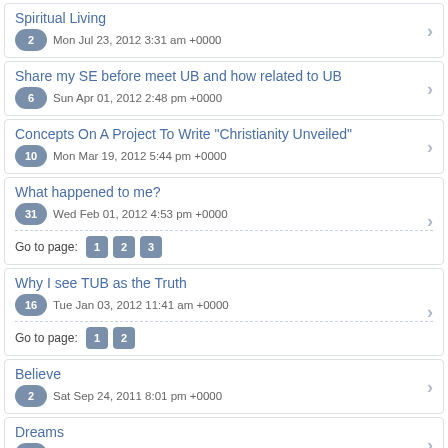Spiritual Living
2 Mon Jul 23, 2012 3:31 am +0000
Share my SE before meet UB and how related to UB
6 Sun Apr 01, 2012 2:48 pm +0000
Concepts On A Project To Write "Christianity Unveiled"
10 Mon Mar 19, 2012 5:44 pm +0000
What happened to me?
31 Wed Feb 01, 2012 4:53 pm +0000
Go to page: 1 2 3
Why I see TUB as the Truth
16 Tue Jan 03, 2012 11:41 am +0000
Go to page: 1 2
Believe
2 Sat Sep 24, 2011 8:01 pm +0000
Dreams
9 Fri Aug 26, 2011 7:35 am +0000
Christ Entity
15 Sat Feb 26, 2011 7:41 pm +0000